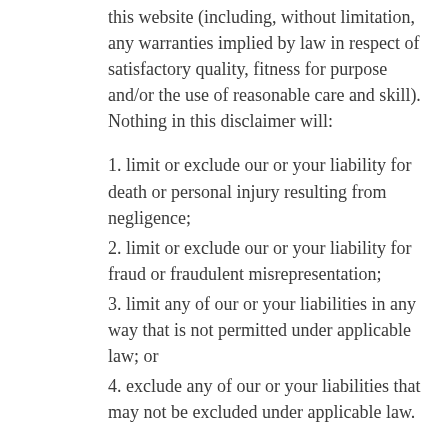this website (including, without limitation, any warranties implied by law in respect of satisfactory quality, fitness for purpose and/or the use of reasonable care and skill). Nothing in this disclaimer will:
1. limit or exclude our or your liability for death or personal injury resulting from negligence;
2. limit or exclude our or your liability for fraud or fraudulent misrepresentation;
3. limit any of our or your liabilities in any way that is not permitted under applicable law; or
4. exclude any of our or your liabilities that may not be excluded under applicable law.
The limitations and exclusions of liability set out in this Section and elsewhere in this disclaimer: (a) are subject to the preceding paragraph; and (b) govern all liabilities arising under the disclaimer or in